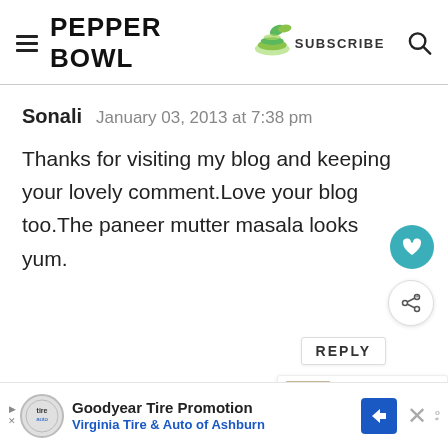PEPPER BOWL — SUBSCRIBE
Sonali   January 03, 2013 at 7:38 pm
Thanks for visiting my blog and keeping your lovely comment.Love your blog too.The paneer mutter masala looks yum.
REPLY
WHAT'S NEXT → Paneer Dosa-Crepe with...
Goodyear Tire Promotion
Virginia Tire & Auto of Ashburn